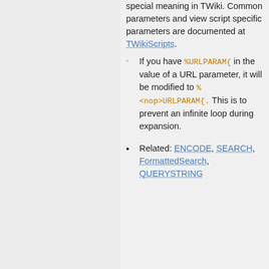special meaning in TWiki. Common parameters and view script specific parameters are documented at TWikiScripts.
If you have %URLPARAM{ in the value of a URL parameter, it will be modified to %<nop>URLPARAM{. This is to prevent an infinite loop during expansion.
Related: ENCODE, SEARCH, FormattedSearch, QUERYSTRING